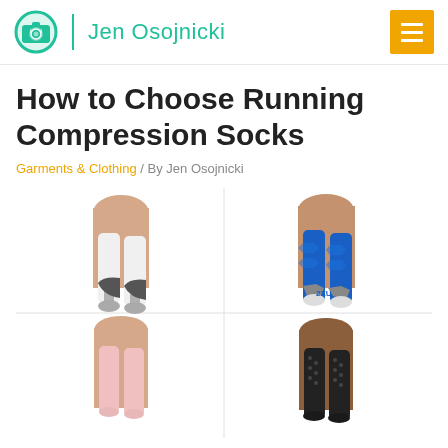Jen Osojnicki
How to Choose Running Compression Socks
Garments & Clothing / By Jen Osojnicki
[Figure (photo): Four pairs of running compression socks shown on legs: white with grey accents, blue with grey accents, light pink, and black with dot texture pattern]